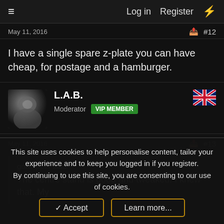≡   Log in   Register   ⚡
May 11, 2016   #12
I have a single spare z-plate you can have cheap, for postage and a hamburger.
L.A.B.
Moderator   VIP MEMBER
May 11, 2016   #13
gortnipper said:
The centre stand is good and tweaked. I knew that. My
This site uses cookies to help personalise content, tailor your experience and to keep you logged in if you register.
By continuing to use this site, you are consenting to our use of cookies.